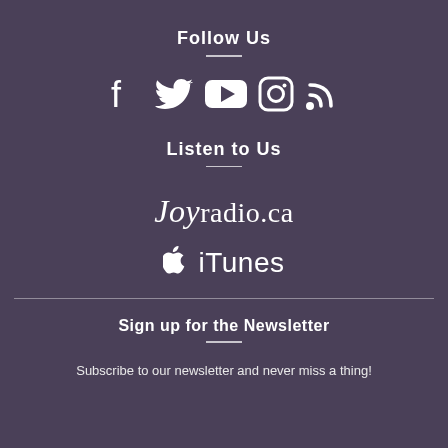Follow Us
[Figure (illustration): Social media icons: Facebook, Twitter, YouTube, Instagram, RSS feed]
Listen to Us
[Figure (logo): Joyradio.ca logo in script/serif font]
[Figure (logo): Apple iTunes logo with Apple icon]
Sign up for the Newsletter
Subscribe to our newsletter and never miss a thing!